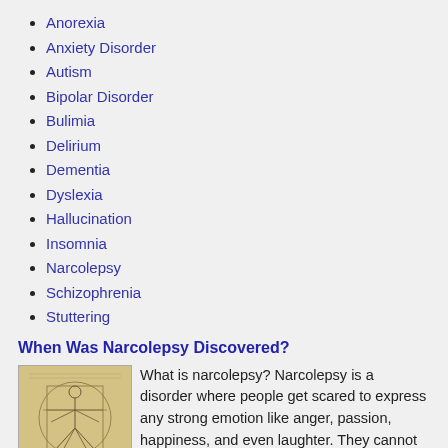Anorexia
Anxiety Disorder
Autism
Bipolar Disorder
Bulimia
Delirium
Dementia
Dyslexia
Hallucination
Insomnia
Narcolepsy
Schizophrenia
Stuttering
When Was Narcolepsy Discovered?
[Figure (illustration): Vitruvian Man illustration (Leonardo da Vinci style drawing of a human figure)]
What is narcolepsy? Narcolepsy is a disorder where people get scared to express any strong emotion like anger, passion, happiness, and even laughter. They cannot deal with these emotions and can be easily overwhelmed by them. A normal human being when overwhelmed would either cry or laugh too much. But people who have narcolepsy react in such a way that they would either faint or get into a fit and